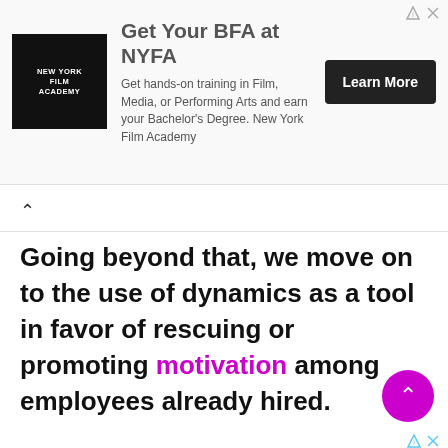[Figure (infographic): Advertisement banner for New York Film Academy (NYFA). Shows NYFA logo (black square with white text), headline 'Get Your BFA at NYFA', body text 'Get hands-on training in Film, Media, or Performing Arts and earn your Bachelor's Degree. New York Film Academy', and a dark 'Learn More' CTA button. Ad attribution icons (triangle and X) in top right.]
Going beyond that, we move on to the use of dynamics as a tool in favor of rescuing or promoting motivation among employees already hired.